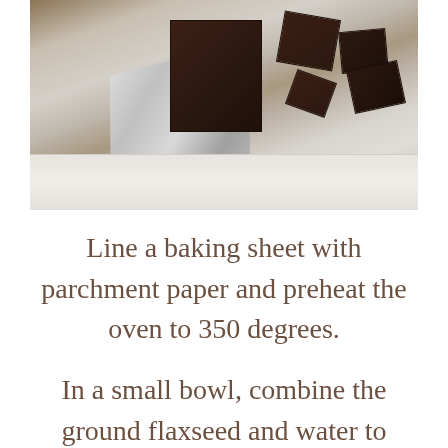[Figure (photo): A dark chocolate bar partially unwrapped from silver foil, broken into pieces, scattered on a white marble surface. Overhead/flat-lay photography style.]
Line a baking sheet with parchment paper and preheat the oven to 350 degrees.
In a small bowl, combine the ground flaxseed and water to create a flax